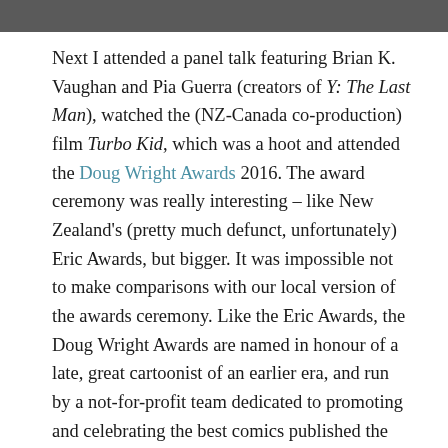[Figure (photo): Photo strip at top of page, partially visible, dark/grey tones]
Next I attended a panel talk featuring Brian K. Vaughan and Pia Guerra (creators of Y: The Last Man), watched the (NZ-Canada co-production) film Turbo Kid, which was a hoot and attended the Doug Wright Awards 2016. The award ceremony was really interesting – like New Zealand's (pretty much defunct, unfortunately) Eric Awards, but bigger. It was impossible not to make comparisons with our local version of the awards ceremony. Like the Eric Awards, the Doug Wright Awards are named in honour of a late, great cartoonist of an earlier era, and run by a not-for-profit team dedicated to promoting and celebrating the best comics published the